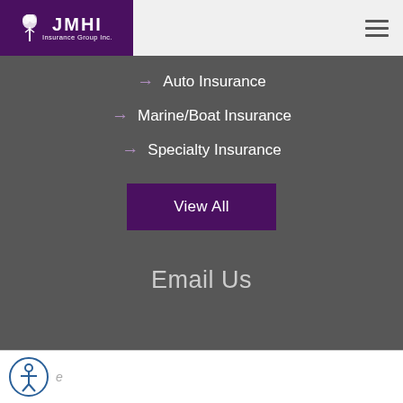JMHI Insurance Group Inc.
Auto Insurance
Marine/Boat Insurance
Specialty Insurance
View All
Email Us